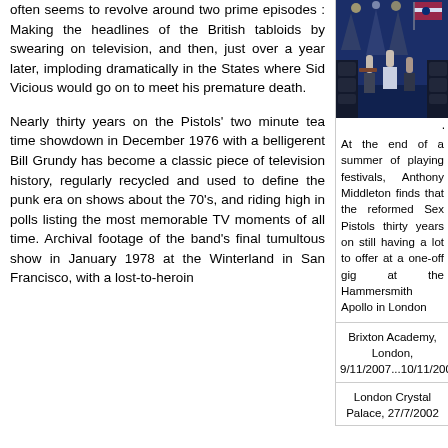often seems to revolve around two prime episodes : Making the headlines of the British tabloids by swearing on television, and then, just over a year later, imploding dramatically in the States where Sid Vicious would go on to meet his premature death.
Nearly thirty years on the Pistols' two minute tea time showdown in December 1976 with a belligerent Bill Grundy has become a classic piece of television history, regularly recycled and used to define the punk era on shows about the 70's, and riding high in polls listing the most memorable TV moments of all time. Archival footage of the band's final tumultous show in January 1978 at the Winterland in San Francisco, with a lost-to-heroin
[Figure (photo): Band performing on stage with lights and speakers, flag visible in background]
. At the end of a summer of playing festivals, Anthony Middleton finds that the reformed Sex Pistols thirty years on still having a lot to offer at a one-off gig at the Hammersmith Apollo in London
Brixton Academy, London, 9/11/2007...10/11/2007
London Crystal Palace, 27/7/2002